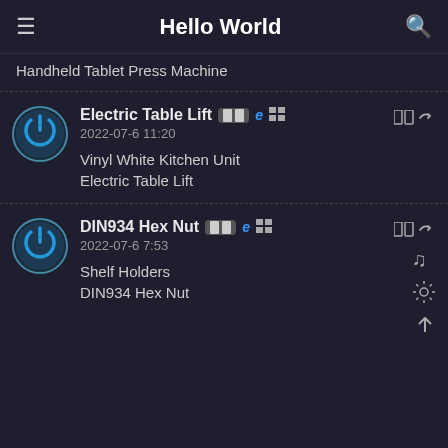Hello World
Handheld Tablet Press Machine
Electric Table Lift | 2022-07-6 11:20 | Vinyl White Kitchen Unit | Electric Table Lift
DIN934 Hex Nut | 2022-07-6 7:53 | Shelf Holders | DIN934 Hex Nut